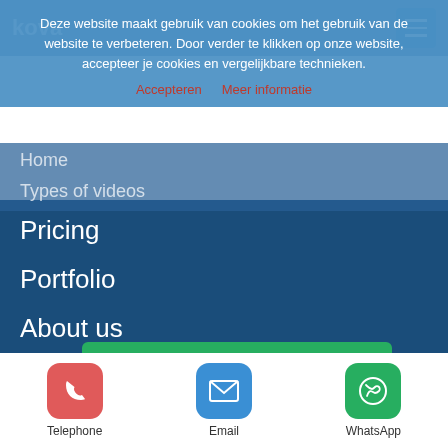Header bar with logo and hamburger menu
Deze website maakt gebruik van cookies om het gebruik van de website te verbeteren. Door verder te klikken op onze website, accepteer je cookies en vergelijkbare technieken.
Accepteren   Meer informatie
Home
Types of videos
Pricing
Portfolio
About us
Sectors
Blog
Contact
More i
[Figure (other): Green download brochure button with checkmark icon]
[Figure (other): Bottom contact bar with Telephone (red), Email (blue), WhatsApp (green) icon buttons]